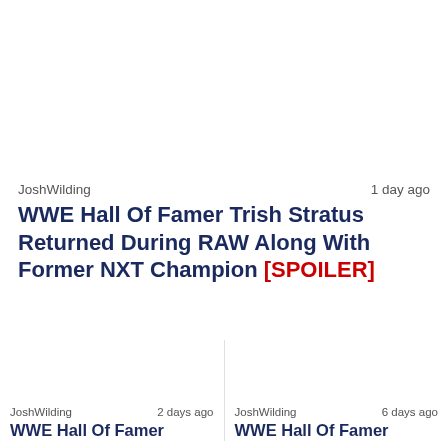[Figure (photo): Article image placeholder for WWE Hall Of Famer Trish Stratus article]
JoshWilding   1 day ago
WWE Hall Of Famer Trish Stratus Returned During RAW Along With Former NXT Champion [SPOILER]
[Figure (photo): Article image placeholder for bottom-left WWE Hall Of Famer article]
JoshWilding   2 days ago
WWE Hall Of Famer
[Figure (photo): Article image placeholder for bottom-right WWE Hall Of Famer article]
JoshWilding   6 days ago
WWE Hall Of Famer